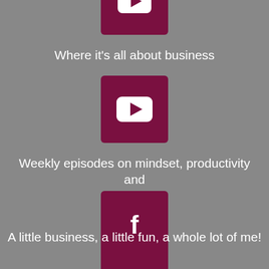[Figure (logo): YouTube icon - dark red/maroon square with white play button triangle, partially visible at top]
Where it's all about business
[Figure (logo): YouTube icon - dark red/maroon square with white play button triangle]
Weekly episodes on mindset, productivity and marketing
[Figure (logo): Facebook icon - dark red/maroon square with white lowercase f]
A little business, a little fun, a whole lot of me!
[Figure (logo): Instagram icon - dark red/maroon square with white camera outline, partially visible at bottom]